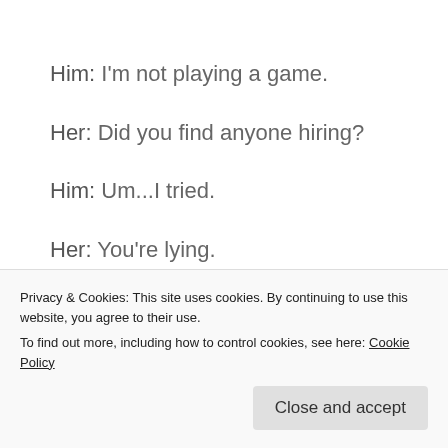Him:  I'm not playing a game.
Her:  Did you find anyone hiring?
Him:  Um...I tried.
Her:  You're lying.
Him:  ...
Her:  You're lying about what, exactly? …
Privacy & Cookies: This site uses cookies. By continuing to use this website, you agree to their use.
To find out more, including how to control cookies, see here: Cookie Policy
Close and accept